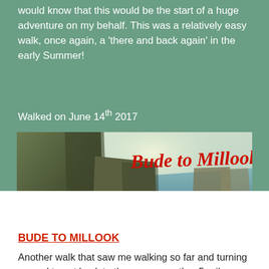would know that this would be the start of a huge adventure on my behalf. This was a relatively easy walk, once again, a 'there and back again' in the early Summer!
Walked on June 14th 2017
[Figure (photo): Coastal cliff landscape photo with overlaid red handwritten text reading 'Bude to Millook'. Rocky cliffs with ocean view in background under pale sky.]
BUDE TO MILLOOK
Another walk that saw me walking so far and turning around to get back to the car, so another 5-mile section